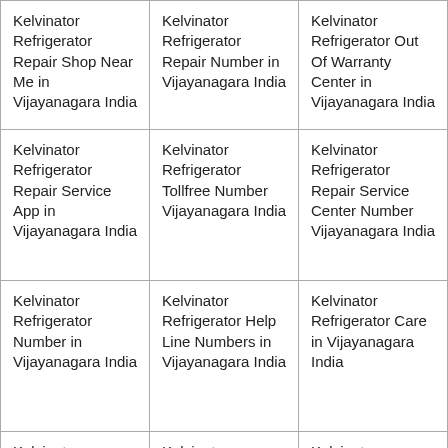| Kelvinator Refrigerator Repair Shop Near Me in Vijayanagara India | Kelvinator Refrigerator Repair Number in Vijayanagara India | Kelvinator Refrigerator Out Of Warranty Center in Vijayanagara India |
| Kelvinator Refrigerator Repair Service App in Vijayanagara India | Kelvinator Refrigerator Tollfree Number Vijayanagara India | Kelvinator Refrigerator Repair Service Center Number Vijayanagara India |
| Kelvinator Refrigerator Number in Vijayanagara India | Kelvinator Refrigerator Help Line Numbers in Vijayanagara India | Kelvinator Refrigerator Care in Vijayanagara India |
| Kelvinator Refrigerator Toll | Kelvinator Refrigerator | Kelvinator Refrigerator Care |